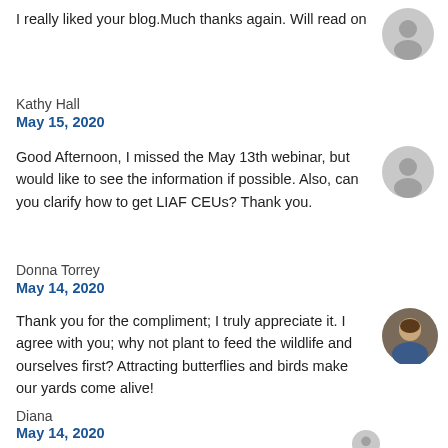I really liked your blog.Much thanks again. Will read on
Kathy Hall
May 15, 2020
Good Afternoon, I missed the May 13th webinar, but would like to see the information if possible. Also, can you clarify how to get LIAF CEUs? Thank you.
Donna Torrey
May 14, 2020
Thank you for the compliment; I truly appreciate it. I agree with you; why not plant to feed the wildlife and ourselves first? Attracting butterflies and birds make our yards come alive!
Diana
May 14, 2020